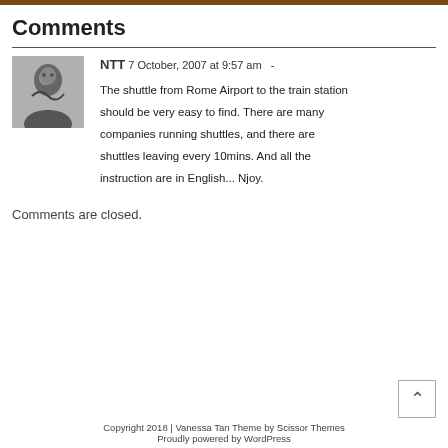Comments
NTT 7 October, 2007 at 9:57 am  -

The shuttle from Rome Airport to the train station should be very easy to find. There are many companies running shuttles, and there are shuttles leaving every 10mins. And all the instruction are in English... Njoy.
Comments are closed.
Copyright 2018 | Vanessa Tan Theme by Scissor Themes Proudly powered by WordPress